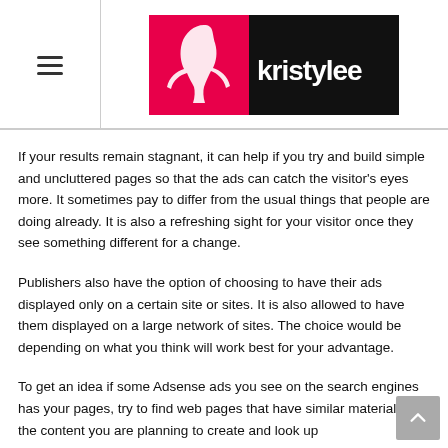[Figure (logo): Kristy Lee logo: pink silhouette of woman's face on left, black background with white 'kristylee' text on right]
If your results remain stagnant, it can help if you try and build simple and uncluttered pages so that the ads can catch the visitor's eyes more. It sometimes pay to differ from the usual things that people are doing already. It is also a refreshing sight for your visitor once they see something different for a change.
Publishers also have the option of choosing to have their ads displayed only on a certain site or sites. It is also allowed to have them displayed on a large network of sites. The choice would be depending on what you think will work best for your advantage.
To get an idea if some Adsense ads you see on the search engines has your pages, try to find web pages that have similar material to the content you are planning to create and look up